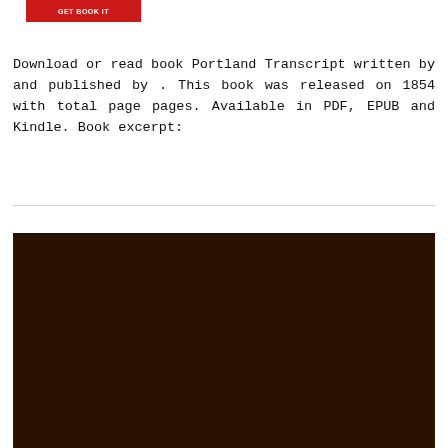[Figure (other): Red download button with white text]
Download or read book Portland Transcript written by and published by . This book was released on 1854 with total page pages. Available in PDF, EPUB and Kindle. Book excerpt:
[Figure (photo): Dark brown book cover, plain with no text or imagery visible]